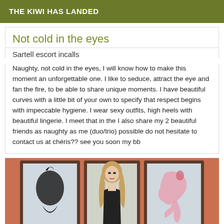THE KIWI HAS LANDED
Not cold in the eyes
Sartell escort incalls
Naughty, not cold in the eyes, I will know how to make this moment an unforgettable one. I like to seduce, attract the eye and fan the fire, to be able to share unique moments. I have beautiful curves with a little bit of your own to specify that respect begins with impeccable hygiene. I wear sexy outfits, high heels with beautiful lingerie. I meet that in the I also share my 2 beautiful friends as naughty as me (duo/trio) possible do not hesitate to contact us at chéris?? see you soon my bb
[Figure (photo): A blonde woman in a black dress standing in front of decorative framed panels on a terracotta-colored wall]